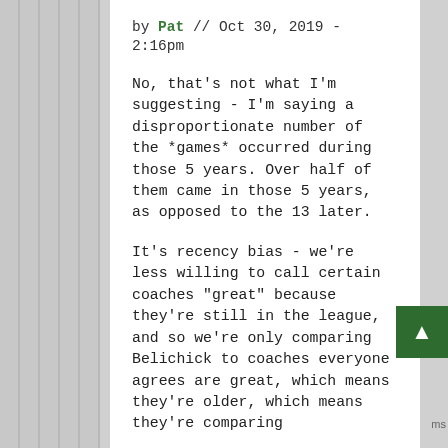by Pat // Oct 30, 2019 - 2:16pm
No, that's not what I'm suggesting - I'm saying a disproportionate number of the *games* occurred during those 5 years. Over half of them came in those 5 years, as opposed to the 13 later.
It's recency bias - we're less willing to call certain coaches "great" because they're still in the league, and so we're only comparing Belichick to coaches everyone agrees are great, which means they're older, which means they're comparing